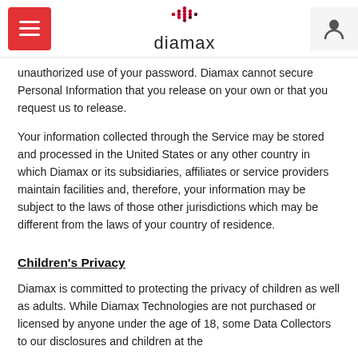Diamax
unauthorized use of your password. Diamax cannot secure Personal Information that you release on your own or that you request us to release.
Your information collected through the Service may be stored and processed in the United States or any other country in which Diamax or its subsidiaries, affiliates or service providers maintain facilities and, therefore, your information may be subject to the laws of those other jurisdictions which may be different from the laws of your country of residence.
Children's Privacy
Diamax is committed to protecting the privacy of children as well as adults. While Diamax Technologies are not purchased or licensed by anyone under the age of 18, some Data Collectors to our disclosures and children at the